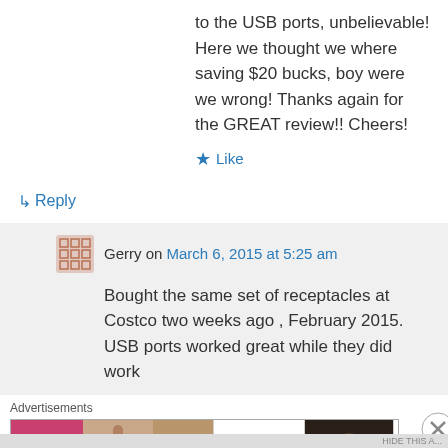to the USB ports, unbelievable! Here we thought we where saving $20 bucks, boy were we wrong! Thanks again for the GREAT review!! Cheers!
★ Like
↳ Reply
Gerry on March 6, 2015 at 5:25 am
Bought the same set of receptacles at Costco two weeks ago , February 2015. USB ports worked great while they did work
Advertisements
[Figure (other): ULTA beauty advertisement banner with makeup images and SHOP NOW text]